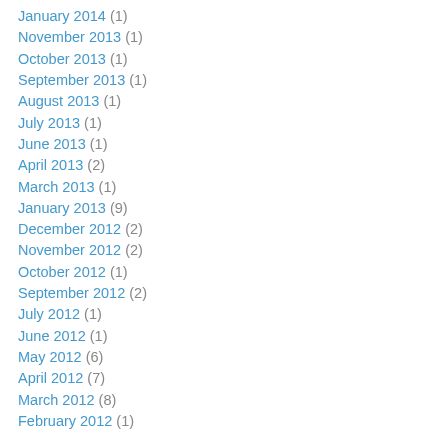January 2014 (1)
November 2013 (1)
October 2013 (1)
September 2013 (1)
August 2013 (1)
July 2013 (1)
June 2013 (1)
April 2013 (2)
March 2013 (1)
January 2013 (9)
December 2012 (2)
November 2012 (2)
October 2012 (1)
September 2012 (2)
July 2012 (1)
June 2012 (1)
May 2012 (6)
April 2012 (7)
March 2012 (8)
February 2012 (1)